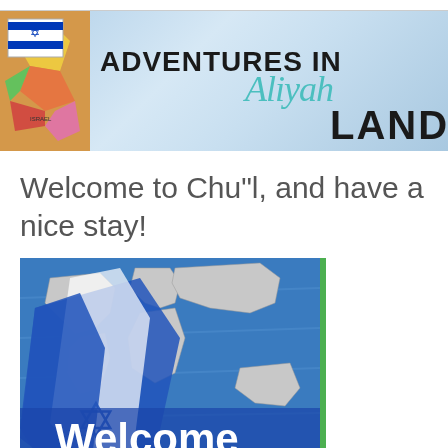[Figure (illustration): Adventures in Aliyah Land blog banner with Israeli flag, colorful map, sky background, and stylized text reading ADVENTURES IN Aliyah LAND]
Welcome to Chu"l, and have a nice stay!
[Figure (illustration): World map over ocean with Israeli flag-colored ribbon/arrow overlaid, white text reading 'Welcome to']